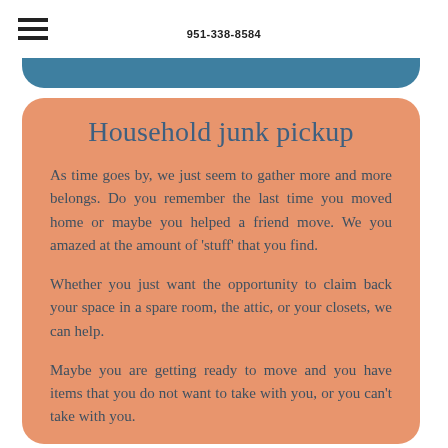951-338-8584
Household junk pickup
As time goes by, we just seem to gather more and more belongs. Do you remember the last time you moved home or maybe you helped a friend move. We you amazed at the amount of 'stuff' that you find.
Whether you just want the opportunity to claim back your space in a spare room, the attic, or your closets, we can help.
Maybe you are getting ready to move and you have items that you do not want to take with you, or you can't take with you.